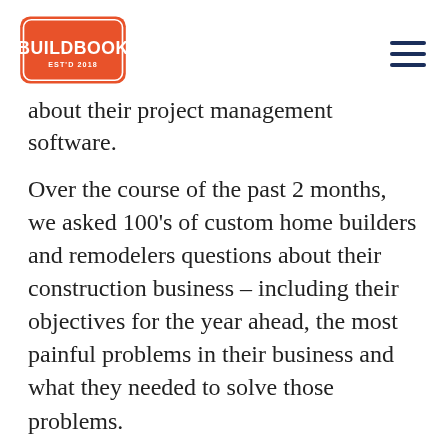BUILDBOOK EST'D 2018
about their project management software.
Over the course of the past 2 months, we asked 100's of custom home builders and remodelers questions about their construction business – including their objectives for the year ahead, the most painful problems in their business and what they needed to solve those problems.
The reason we asked all of these questions is because for a large majority of builders, their project management software is the most frustrating tool in their business. And, we wanted to learn how to fix it.